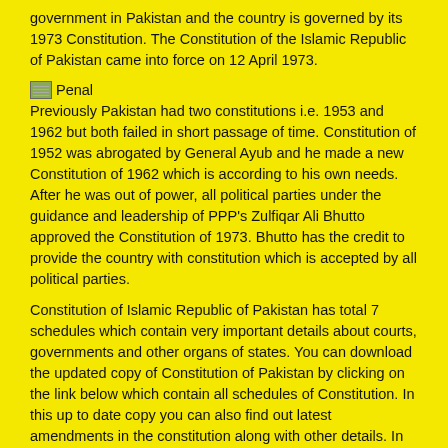government in Pakistan and the country is governed by its 1973 Constitution. The Constitution of the Islamic Republic of Pakistan came into force on 12 April 1973.
[Figure (illustration): Small thumbnail image with Penal label/icon]
Previously Pakistan had two constitutions i.e. 1953 and 1962 but both failed in short passage of time. Constitution of 1952 was abrogated by General Ayub and he made a new Constitution of 1962 which is according to his own needs. After he was out of power, all political parties under the guidance and leadership of PPP's Zulfiqar Ali Bhutto approved the Constitution of 1973. Bhutto has the credit to provide the country with constitution which is accepted by all political parties.
Constitution of Islamic Republic of Pakistan has total 7 schedules which contain very important details about courts, governments and other organs of states. You can download the updated copy of Constitution of Pakistan by clicking on the link below which contain all schedules of Constitution. In this up to date copy you can also find out latest amendments in the constitution along with other details. In this up to date copy you can also find out the complete wording of oath for different constitutional posts like Prime Minister, President, Member of Assembly etc.
Constitution of Pakistan 1973 – Complete